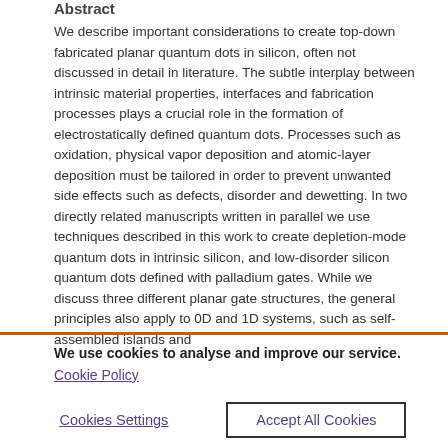Abstract
We describe important considerations to create top-down fabricated planar quantum dots in silicon, often not discussed in detail in literature. The subtle interplay between intrinsic material properties, interfaces and fabrication processes plays a crucial role in the formation of electrostatically defined quantum dots. Processes such as oxidation, physical vapor deposition and atomic-layer deposition must be tailored in order to prevent unwanted side effects such as defects, disorder and dewetting. In two directly related manuscripts written in parallel we use techniques described in this work to create depletion-mode quantum dots in intrinsic silicon, and low-disorder silicon quantum dots defined with palladium gates. While we discuss three different planar gate structures, the general principles also apply to 0D and 1D systems, such as self-assembled islands and
We use cookies to analyse and improve our service.  Cookie Policy
Cookies Settings
Accept All Cookies